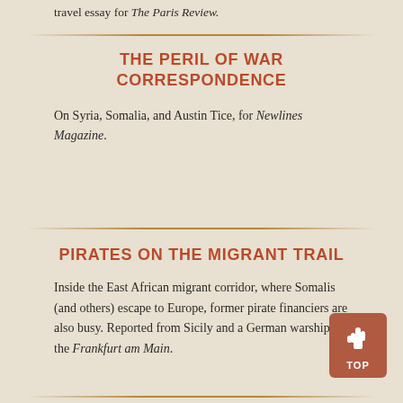travel essay for The Paris Review.
THE PERIL OF WAR CORRESPONDENCE
On Syria, Somalia, and Austin Tice, for Newlines Magazine.
PIRATES ON THE MIGRANT TRAIL
Inside the East African migrant corridor, where Somalis (and others) escape to Europe, former pirate financiers are also busy. Reported from Sicily and a German warship, the Frankfurt am Main.